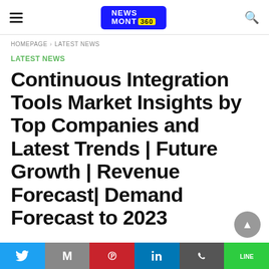NEWS MONT 360 (logo)
HOMEPAGE › LATEST NEWS
LATEST NEWS
Continuous Integration Tools Market Insights by Top Companies and Latest Trends | Future Growth | Revenue Forecast| Demand Forecast to 2023